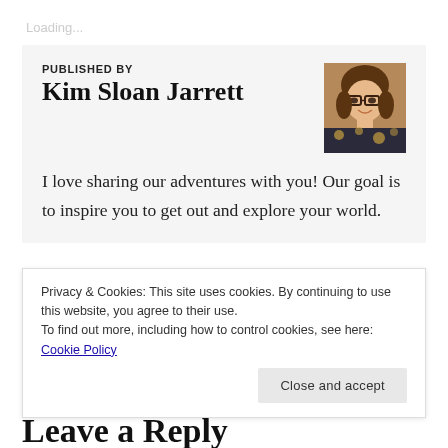Loading...
PUBLISHED BY
Kim Sloan Jarrett
[Figure (photo): Headshot of Kim Sloan Jarrett, a woman with glasses and brown hair, smiling, wearing a patterned top.]
I love sharing our adventures with you! Our goal is to inspire you to get out and explore your world.
Privacy & Cookies: This site uses cookies. By continuing to use this website, you agree to their use.
To find out more, including how to control cookies, see here: Cookie Policy
Close and accept
Leave a Reply